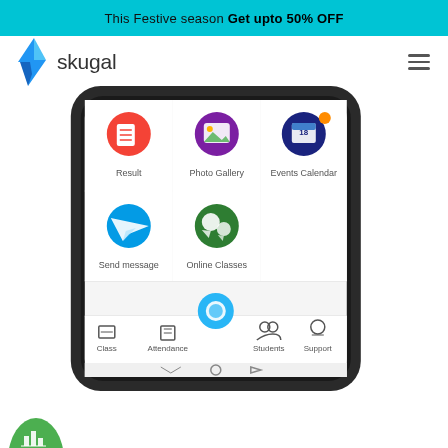This Festive season Get upto 50% OFF
[Figure (logo): Skugal logo with blue lightning bolt icon and text 'skugal']
[Figure (screenshot): Screenshot of Skugal mobile app showing app icons: Result, Photo Gallery, Events Calendar, Send message, Online Classes, and bottom navigation bar with Class, Attendance, camera button, Students, Support]
[Figure (other): Partial green circular button with bar chart icon at bottom left corner]